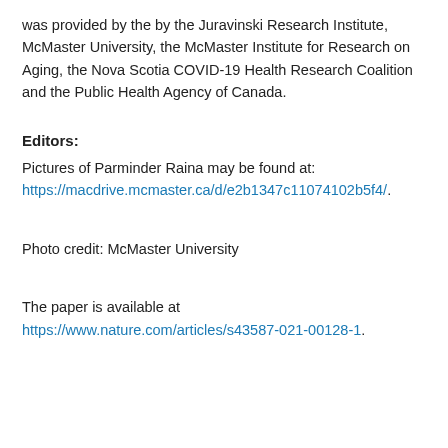was provided by the by the Juravinski Research Institute, McMaster University, the McMaster Institute for Research on Aging, the Nova Scotia COVID-19 Health Research Coalition and the Public Health Agency of Canada.
Editors:
Pictures of Parminder Raina may be found at: https://macdrive.mcmaster.ca/d/e2b1347c11074102b5f4/.
Photo credit: McMaster University
The paper is available at https://www.nature.com/articles/s43587-021-00128-1.